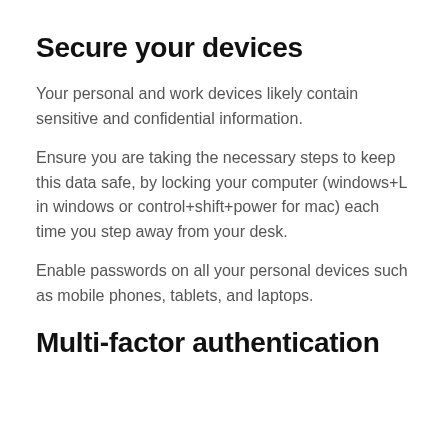Secure your devices
Your personal and work devices likely contain sensitive and confidential information.
Ensure you are taking the necessary steps to keep this data safe, by locking your computer (windows+L in windows or control+shift+power for mac) each time you step away from your desk.
Enable passwords on all your personal devices such as mobile phones, tablets, and laptops.
Multi-factor authentication